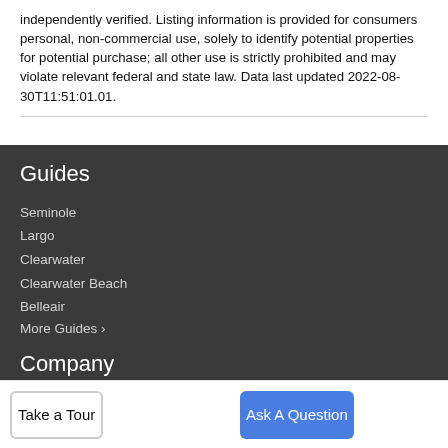independently verified. Listing information is provided for consumers personal, non-commercial use, solely to identify potential properties for potential purchase; all other use is strictly prohibited and may violate relevant federal and state law. Data last updated 2022-08-30T11:51:01.01.
Guides
Seminole
Largo
Clearwater
Clearwater Beach
Belleair
More Guides >
Company
Take a Tour
Ask A Question
Resources